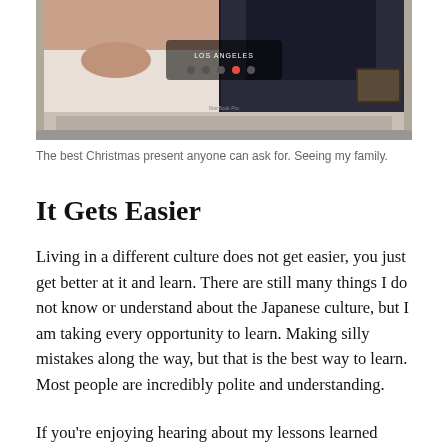[Figure (photo): A MacBook Pro laptop screen showing a video call with 'LOS ANGELES' displayed, with people visible on screen.]
The best Christmas present anyone can ask for. Seeing my family.
It Gets Easier
Living in a different culture does not get easier, you just get better at it and learn. There are still many things I do not know or understand about the Japanese culture, but I am taking every opportunity to learn. Making silly mistakes along the way, but that is the best way to learn. Most people are incredibly polite and understanding.
If you're enjoying hearing about my lessons learned